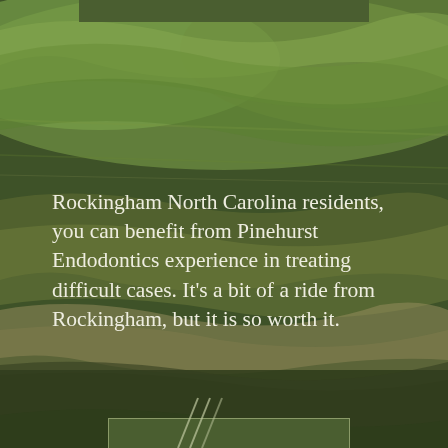[Figure (photo): Aerial/landscape photograph of rolling green hills and sandy golf course terrain with dark earthy tones, serving as the background of the page. A dark olive green rectangle bar appears at the top center.]
Rockingham North Carolina residents, you can benefit from Pinehurst Endodontics experience in treating difficult cases. It's a bit of a ride from Rockingham, but it is so worth it.
GET DIRECTIONS